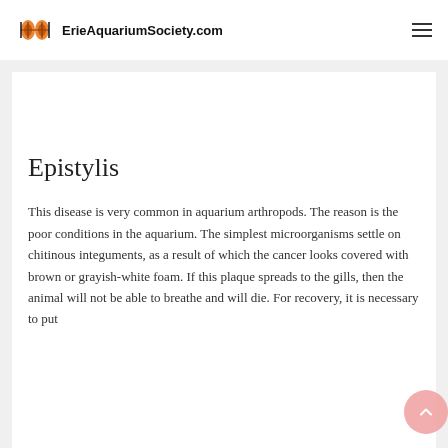ErieAquariumSociety.com
Epistylis
This disease is very common in aquarium arthropods. The reason is the poor conditions in the aquarium. The simplest microorganisms settle on chitinous integuments, as a result of which the cancer looks covered with brown or grayish-white foam. If this plaque spreads to the gills, then the animal will not be able to breathe and will die. For recovery, it is necessary to put